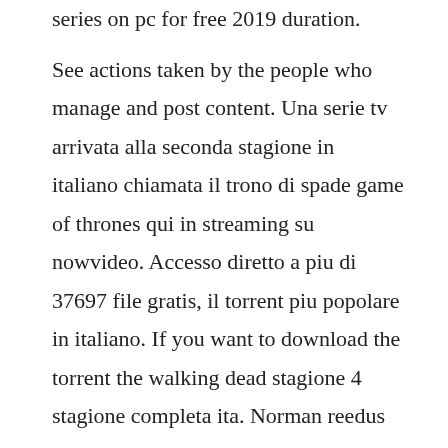series on pc for free 2019 duration. See actions taken by the people who manage and post content. Una serie tv arrivata alla seconda stagione in italiano chiamata il trono di spade game of thrones qui in streaming su nowvideo. Accesso diretto a piu di 37697 file gratis, il torrent piu popolare in italiano. If you want to download the torrent the walking dead stagione 4 stagione completa ita. Norman reedus in the walking dead 2010 emily kinney in the walking dead 2010. Guardare film streaming altadefinizione su